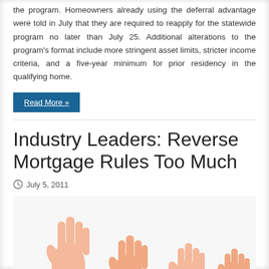the program. Homeowners already using the deferral advantage were told in July that they are required to reapply for the statewide program no later than July 25. Additional alterations to the program's format include more stringent asset limits, stricter income criteria, and a five-year minimum for prior residency in the qualifying home.
Read More »
Industry Leaders: Reverse Mortgage Rules Too Much
July 5, 2011
[Figure (photo): Photograph of multiple raised hands/arms from people in a crowd, shown from about mid-forearm down, against a white background.]